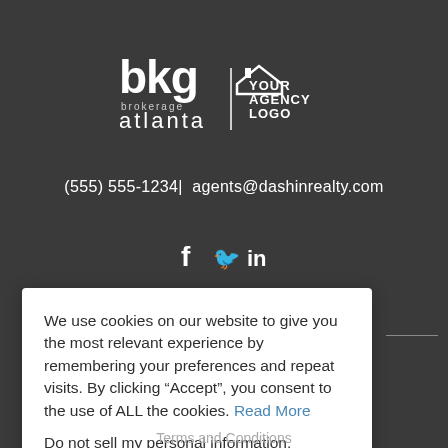[Figure (logo): BKG Brokerage Atlanta logo combined with 'YOUR AGENCY LOGO' house icon in white on dark background]
(555) 555-1234|  agents@dashinrealty.com
[Figure (other): Social media icons: Facebook (f), Twitter (bird), LinkedIn (in)]
We use cookies on our website to give you the most relevant experience by remembering your preferences and repeat visits. By clicking “Accept”, you consent to the use of ALL the cookies. Read More
Do not sell my personal information.
Cookie Settings    Accept
Terms and Conditions